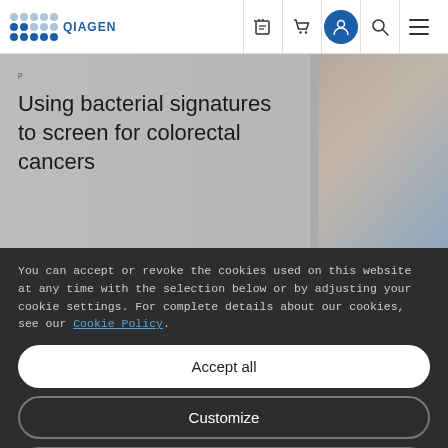[Figure (logo): QIAGEN logo with blue dot grid and text QIAGEN in blue]
Using bacterial signatures to screen for colorectal cancers
You can accept or revoke the cookies used on this website at any time with the selection below or by adjusting your cookie settings. For complete details about our cookies, see our Cookie Policy.
Accept all
Customize
Only necessary